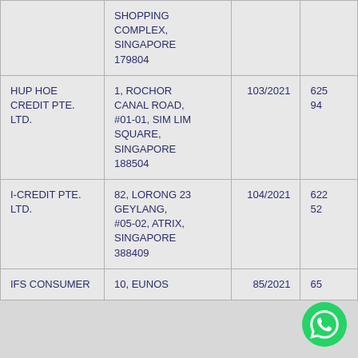| Name | Address | Licence No. | Phone |
| --- | --- | --- | --- |
|  | SHOPPING COMPLEX, SINGAPORE 179804 |  |  |
| HUP HOE CREDIT PTE. LTD. | 1, ROCHOR CANAL ROAD, #01-01, SIM LIM SQUARE, SINGAPORE 188504 | 103/2021 | 625 94... |
| I-CREDIT PTE. LTD. | 82, LORONG 23 GEYLANG, #05-02, ATRIX, SINGAPORE 388409 | 104/2021 | 622 52... |
| IFS CONSUMER | 10, EUNOS | 85/2021 | 65... |